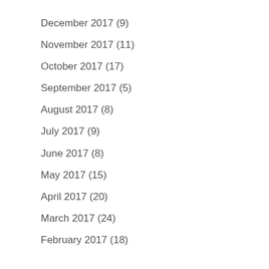December 2017 (9)
November 2017 (11)
October 2017 (17)
September 2017 (5)
August 2017 (8)
July 2017 (9)
June 2017 (8)
May 2017 (15)
April 2017 (20)
March 2017 (24)
February 2017 (18)